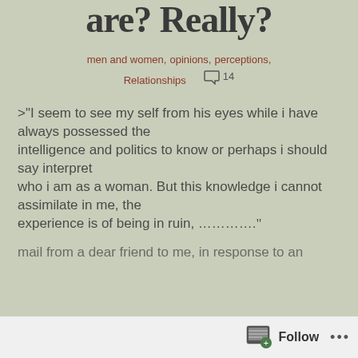are? Really?
men and women, opinions, perceptions, Relationships  💬14
>"I seem to see my self from his eyes while i have always possessed the intelligence and politics to know or perhaps i should say interpret who i am as a woman. But this knowledge i cannot assimilate in me, the experience is of being in ruin, …………."
mail from a dear friend to me, in response to an
Follow ...